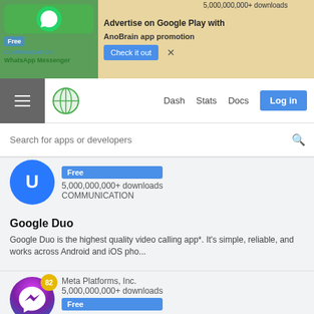[Figure (screenshot): Ad banner for AnoBrain app promotion on Google Play. Contains WhatsApp Messenger branding, 'Free' badge, 'COMMUNICATION' label, '5,000,000,000+ downloads', 'Advertise on Google Play with AnoBrain app promotion', 'Check it out' button, and close X.]
[Figure (screenshot): Navigation bar with hamburger menu, globe logo, Dash / Stats / Docs links, and Log in button.]
[Figure (screenshot): Search bar with placeholder text 'Search for apps or developers' and search icon.]
5,000,000,000+ downloads
COMMUNICATION
Google Duo
Google Duo is the highest quality video calling app*. It's simple, reliable, and works across Android and iOS pho...
Meta Platforms, Inc.
5,000,000,000+ downloads
COMMUNICATION
Messenger
Be together whenever, with our free* all-in-one communication app, complete with unlimited text, voice, video calling a...
Google LLC
1,000,000,000+ downloads